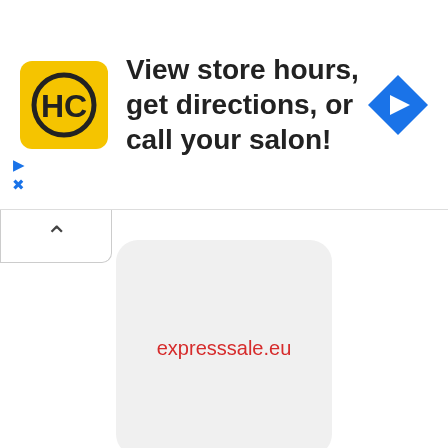[Figure (screenshot): Advertisement banner with HC salon logo (yellow square with HC letters), text 'View store hours, get directions, or call your salon!', and a blue diamond navigation arrow icon. Small play and close controls on left side.]
[Figure (logo): Expresssale.eu app icon - light grey rounded square with red text 'expresssale.eu']
Expresssale
[Figure (logo): Mail Plus Japan app icon - red rounded square with white Japanese character 通 inside a circle]
Mail Plus Japan
[Figure (logo): KYE Kuayue-Express app icon - partial view, light grey rounded square with KYE logo and Chinese characters 跨越速运]